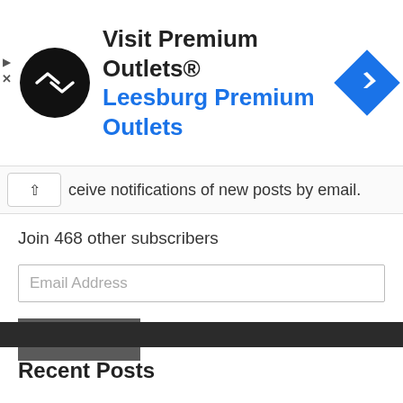[Figure (infographic): Advertisement banner for Visit Premium Outlets® - Leesburg Premium Outlets, with a black circular logo with double arrow symbol on left, blue navigation icon on right, and play/close controls on far left edge.]
ceive notifications of new posts by email.
Join 468 other subscribers
Email Address
Subscribe
Recent Posts